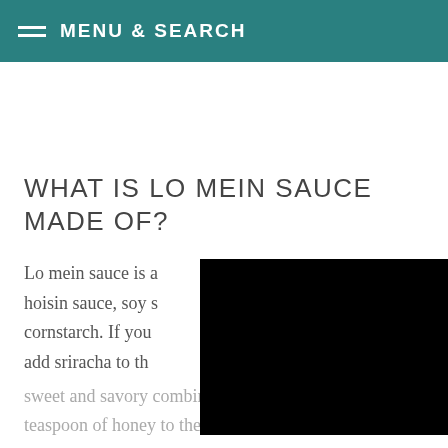MENU & SEARCH
WHAT IS LO MEIN SAUCE MADE OF?
Lo mein sauce is a hoissin sauce, soy s cornstarch. If you add sriracha to th
[Figure (photo): Black video player rectangle overlapping the text on the right side]
sweet and savory combination? Try adding 1/2 teaspoon of honey to the mix.